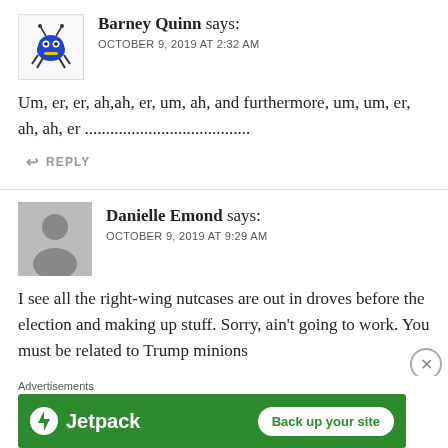Barney Quinn says: OCTOBER 9, 2019 AT 2:32 AM
Um, er, er, ah,ah, er, um, ah, and furthermore, um, um, er, ah, ah, er .......................................
REPLY
Danielle Emond says: OCTOBER 9, 2019 AT 9:29 AM
I see all the right-wing nutcases are out in droves before the election and making up stuff. Sorry, ain't going to work. You must be related to Trump minions
Advertisements
[Figure (screenshot): Jetpack advertisement banner with green background, Jetpack logo on left and 'Back up your site' white button on right]